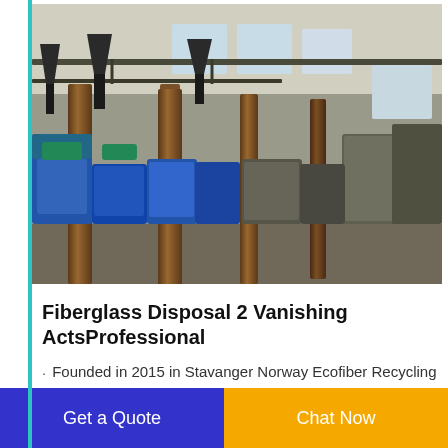[Figure (photo): Interior of an industrial facility with machinery, blue equipment, wooden columns, and overhead piping in a large warehouse-style space.]
Fiberglass Disposal 2 Vanishing ActsProfessional
Founded in 2015 in Stavanger Norway Ecofiber Recycling AS is a waste-processing facility for fiberglass and composite materials from leisure boats construction aquaculture